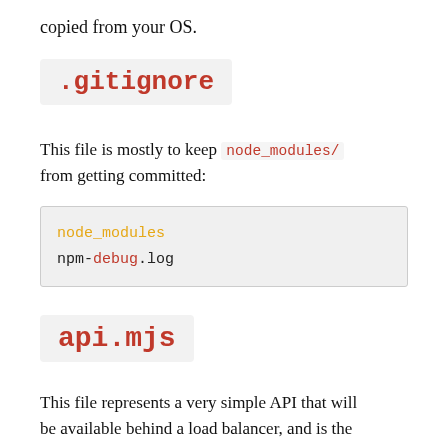copied from your OS.
.gitignore
This file is mostly to keep node_modules/ from getting committed:
[Figure (screenshot): Code block showing: node_modules and npm-debug.log]
api.mjs
This file represents a very simple API that will be available behind a load balancer, and is the